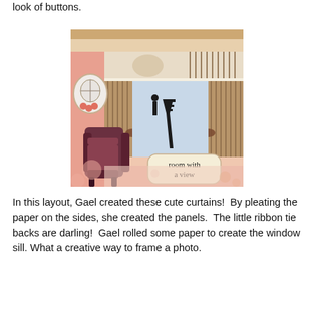look of buttons.
[Figure (photo): A decorative scrapbook layout titled 'room with a view' featuring a vintage-style room scene with curtains, a window showing the Eiffel Tower, an ornate armchair, floral elements, and a birdcage cameo on a pink background.]
In this layout, Gael created these cute curtains!  By pleating the paper on the sides, she created the panels.  The little ribbon tie backs are darling!  Gael rolled some paper to create the window sill. What a creative way to frame a photo.